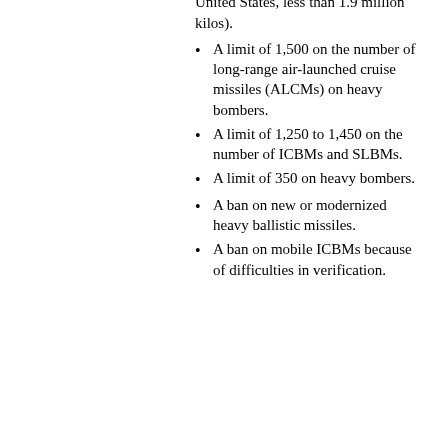Union, over 5.4 million kilos; for the United States, less than 1.9 million kilos).
A limit of 1,500 on the number of long-range air-launched cruise missiles (ALCMs) on heavy bombers.
A limit of 1,250 to 1,450 on the number of ICBMs and SLBMs.
A limit of 350 on heavy bombers.
A ban on new or modernized heavy ballistic missiles.
A ban on mobile ICBMs because of difficulties in verification.